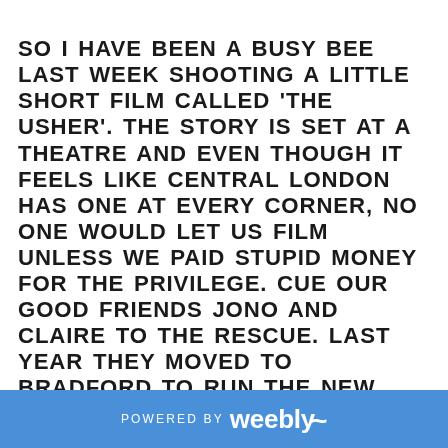SO I HAVE BEEN A BUSY BEE LAST WEEK SHOOTING A LITTLE SHORT FILM CALLED 'THE USHER'. THE STORY IS SET AT A THEATRE AND EVEN THOUGH IT FEELS LIKE CENTRAL LONDON HAS ONE AT EVERY CORNER, NO ONE WOULD LET US FILM UNLESS WE PAID STUPID MONEY FOR THE PRIVILEGE. CUE OUR GOOD FRIENDS JONO AND CLAIRE TO THE RESCUE. LAST YEAR THEY MOVED TO BRADFORD TO RUN THE NEW BRADFORD PLAYHOUSE (HTTPS://WWW.FACEBOOK.COM/NEWBRADFORDPLAYHOUSE?FREF=TS). IT WAS SO GOOD TO SEE THEM
POWERED BY weebly